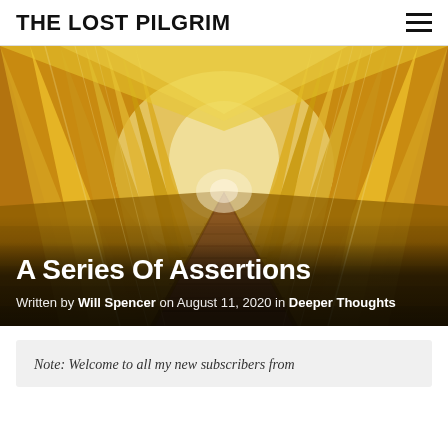THE LOST PILGRIM
[Figure (photo): A tunnel of golden/yellow draped fabric curtains with a wooden boardwalk path leading to a vanishing point, photographed from inside the tunnel looking forward. Warm amber and golden tones dominate the image.]
A Series Of Assertions
Written by Will Spencer on August 11, 2020 in Deeper Thoughts
Note: Welcome to all my new subscribers from